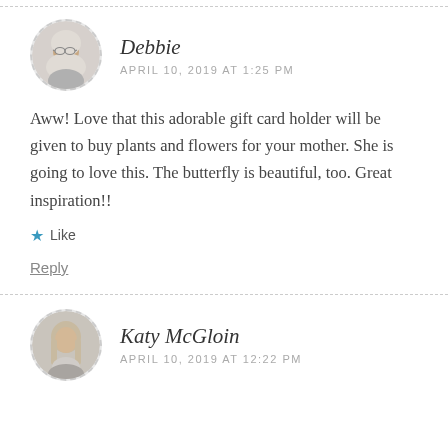[Figure (photo): Circular avatar photo of Debbie, a woman wearing a headscarf and glasses]
Debbie
APRIL 10, 2019 AT 1:25 PM
Aww! Love that this adorable gift card holder will be given to buy plants and flowers for your mother. She is going to love this. The butterfly is beautiful, too. Great inspiration!!
Like
Reply
[Figure (photo): Circular avatar photo of Katy McGloin, a woman with long gray-blonde hair]
Katy McGloin
APRIL 10, 2019 AT 12:22 PM